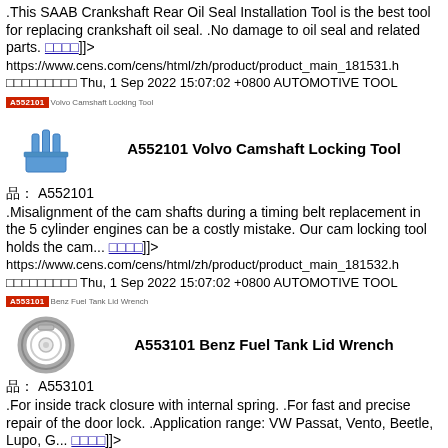.This SAAB Crankshaft Rear Oil Seal Installation Tool is the best tool for replacing crankshaft oil seal. .No damage to oil seal and related parts. [link]]]> https://www.cens.com/cens/html/zh/product/product_main_181531.h [Chinese chars] Thu, 1 Sep 2022 15:07:02 +0800 AUTOMOTIVE TOOL
[Figure (photo): A552101 Volvo Camshaft Locking Tool - blue metal tool with prongs]
A552101 Volvo Camshaft Locking Tool
品: A552101
.Misalignment of the cam shafts during a timing belt replacement in the 5 cylinder engines can be a costly mistake. Our cam locking tool holds the cam... [link]]]> https://www.cens.com/cens/html/zh/product/product_main_181532.h [Chinese chars] Thu, 1 Sep 2022 15:07:02 +0800 AUTOMOTIVE TOOL
[Figure (photo): A553101 Benz Fuel Tank Lid Wrench - circular ring wrench tool]
A553101 Benz Fuel Tank Lid Wrench
品: A553101
.For inside track closure with internal spring. .For fast and precise repair of the door lock. .Application range: VW Passat, Vento, Beetle, Lupo, G... [link]]]> https://www.cens.com/cens/html/zh/product/product_main_181533.h [Chinese chars] Thu, 1 Sep 2022 15:07:02 +0800 AUTOMOTIVE TOOL